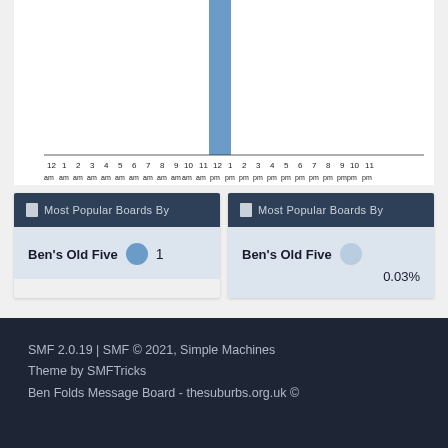[Figure (bar-chart): Partial bar chart showing time-based activity. One prominent blue bar visible around position 8am. X-axis shows hours 12,1,2,3,4,5,6,7,8,9,10,11 for am and pm rows.]
Most Popular Boards By
Ben's Old Five   1
Most Popular Boards By
Ben's Old Five   0.03%
SMF 2.0.19 | SMF © 2021, Simple Machines
Theme by SMFTricks
Ben Folds Message Board - thesuburbs.org.uk ©